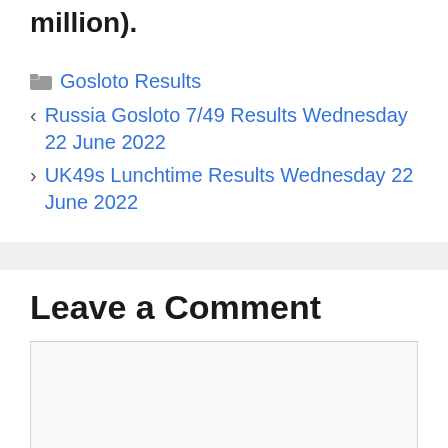million).
Gosloto Results
Russia Gosloto 7/49 Results Wednesday 22 June 2022
UK49s Lunchtime Results Wednesday 22 June 2022
Leave a Comment